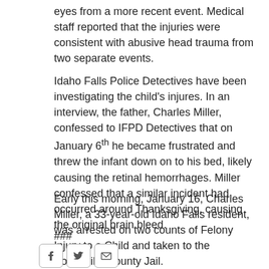eyes from a more recent event. Medical staff reported that the injuries were consistent with abusive head trauma from two separate events.
Idaho Falls Police Detectives have been investigating the child's injures. In an interview, the father, Charles Miller, confessed to IFPD Detectives that on January 6th he became frustrated and threw the infant down on to his bed, likely causing the retinal hemorrhages. Miller confessed that a similar incident had occurred around Thanksgiving, causing the original brain bleed.
Early this morning, January 16, Charles Miller, a 33-year-old Idaho Falls resident, was arrested on two counts of Felony Injury to a Child and taken to the Bonneville County Jail.
###
[Figure (other): Social sharing buttons: Facebook, Twitter, Email]